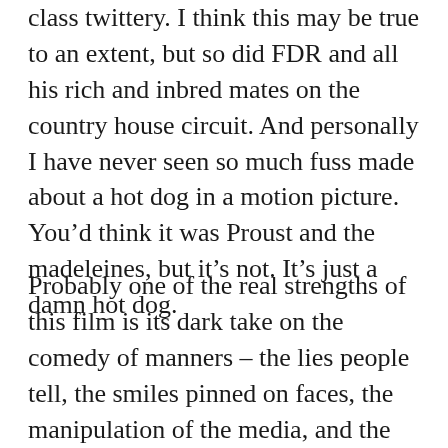class twittery. I think this may be true to an extent, but so did FDR and all his rich and inbred mates on the country house circuit. And personally I have never seen so much fuss made about a hot dog in a motion picture. You'd think it was Proust and the madeleines, but it's not. It's just a damn hot dog.
Probably one of the real strengths of this film is its dark take on the comedy of manners – the lies people tell, the smiles pinned on faces, the manipulation of the media, and the web of counter-intelligence and secrets that can be spun around the rich and famous. But other